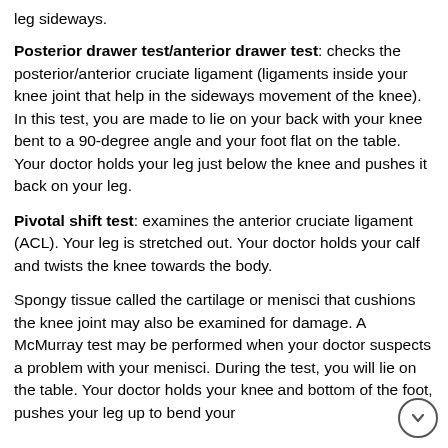leg sideways.
Posterior drawer test/anterior drawer test: checks the posterior/anterior cruciate ligament (ligaments inside your knee joint that help in the sideways movement of the knee). In this test, you are made to lie on your back with your knee bent to a 90-degree angle and your foot flat on the table. Your doctor holds your leg just below the knee and pushes it back on your leg.
Pivotal shift test: examines the anterior cruciate ligament (ACL). Your leg is stretched out. Your doctor holds your calf and twists the knee towards the body.
Spongy tissue called the cartilage or menisci that cushions the knee joint may also be examined for damage. A McMurray test may be performed when your doctor suspects a problem with your menisci. During the test, you will lie on the table. Your doctor holds your knee and bottom of the foot, pushes your leg up to bend your